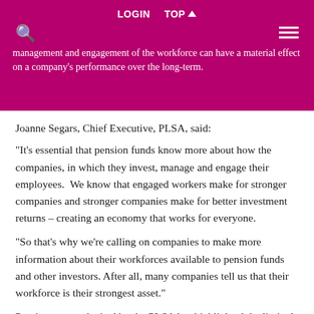management and engagement of the workforce can have a material effect on a company's performance over the long-term.
Joanne Segars, Chief Executive, PLSA, said:
"It’s essential that pension funds know more about how the companies, in which they invest, manage and engage their employees.  We know that engaged workers make for stronger companies and stronger companies make for better investment returns – creating an economy that works for everyone.
“So that’s why we’re calling on companies to make more information about their workforces available to pension funds and other investors. After all, many companies tell us that their workforce is their strongest asset.”
Previous research cited by the PLSA has highlighted the limited detail that UK companies currently provide about their workforce. For example, half of FTSE 100 companies detail their